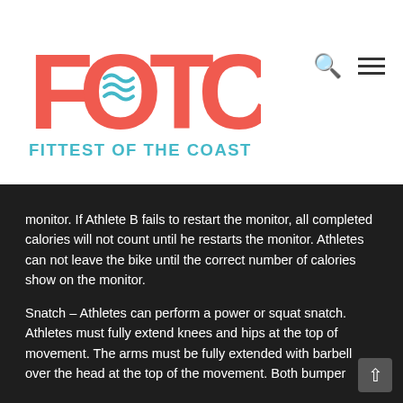[Figure (logo): FOTC - Fittest of the Coast logo with large red letters FOTC (O contains teal wave symbol) and teal text 'FITTEST OF THE COAST' below]
Athletes will be responsible for starting and restarting the monitor. If Athlete B fails to restart the monitor, all completed calories will not count until he restarts the monitor. Athletes can not leave the bike until the correct number of calories show on the monitor.
Snatch – Athletes can perform a power or squat snatch. Athletes must fully extend knees and hips at the top of movement. The arms must be fully extended with barbell over the head at the top of the movement. Both bumper